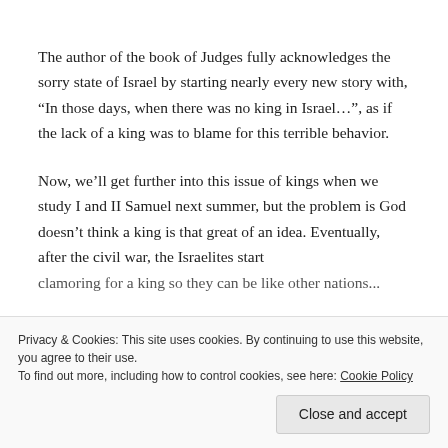The author of the book of Judges fully acknowledges the sorry state of Israel by starting nearly every new story with, “In those days, when there was no king in Israel…”, as if the lack of a king was to blame for this terrible behavior.
Now, we’ll get further into this issue of kings when we study I and II Samuel next summer, but the problem is God doesn’t think a king is that great of an idea. Eventually, after the civil war, the Israelites start clamoring for a king so they can be like other nations...
Privacy & Cookies: This site uses cookies. By continuing to use this website, you agree to their use.
To find out more, including how to control cookies, see here: Cookie Policy